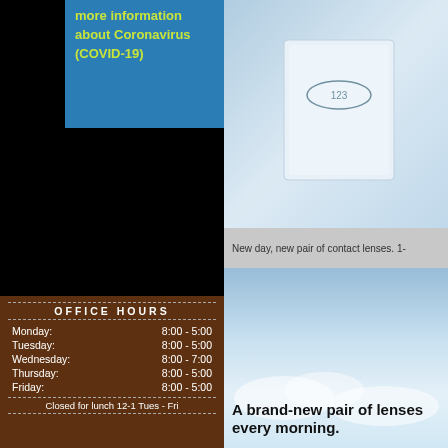more information about Coronavirus (COVID-19)
[Figure (photo): Contact lens package with the number 123 on a light blue background]
New day, new pair of contact lenses. 1-
[Figure (photo): Soft blue sky/cloud background photo]
OFFICE HOURS
| Day | Hours |
| --- | --- |
| Monday: | 8:00 - 5:00 |
| Tuesday: | 8:00 - 5:00 |
| Wednesday: | 8:00 - 7:00 |
| Thursday: | 8:00 - 5:00 |
| Friday: | 8:00 - 5:00 |
Closed for lunch 12-1 Tues - Fri
A brand-new pair of lenses every morning.